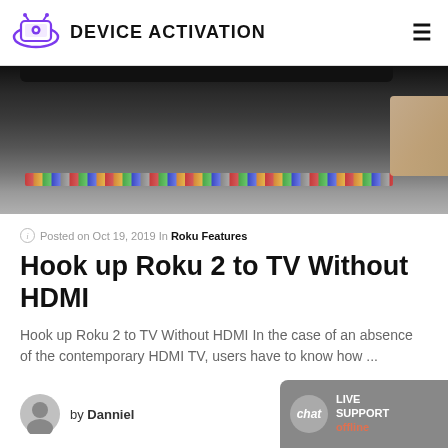DEVICE ACTIVATION
[Figure (photo): Close-up photo of a laptop keyboard with colorful keys, dark background, slightly blurred]
Posted on Oct 19, 2019 In Roku Features
Hook up Roku 2 to TV Without HDMI
Hook up Roku 2 to TV Without HDMI In the case of an absence of the contemporary HDMI TV, users have to know how ...
by Danniel
[Figure (infographic): Live Support chat widget showing offline status]